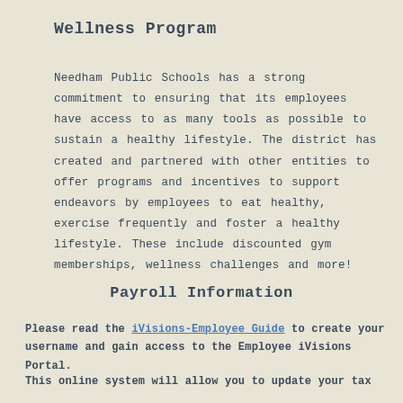Wellness Program
Needham Public Schools has a strong commitment to ensuring that its employees have access to as many tools as possible to sustain a healthy lifestyle. The district has created and partnered with other entities to offer programs and incentives to support endeavors by employees to eat healthy, exercise frequently and foster a healthy lifestyle. These include discounted gym memberships, wellness challenges and more!
Payroll Information
Please read the iVisions-Employee Guide to create your username and gain access to the Employee iVisions Portal.
This online system will allow you to update your tax